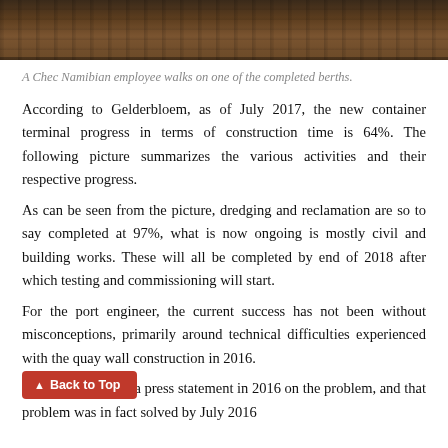[Figure (photo): A photograph showing the top portion of a construction site with berths, appearing dark/brown tones]
A Chec Namibian employee walks on one of the completed berths.
According to Gelderbloem, as of July 2017, the new container terminal progress in terms of construction time is 64%. The following picture summarizes the various activities and their respective progress.
As can be seen from the picture, dredging and reclamation are so to say completed at 97%, what is now ongoing is mostly civil and building works. These will all be completed by end of 2018 after which testing and commissioning will start.
For the port engineer, the current success has not been without misconceptions, primarily around technical difficulties experienced with the quay wall construction in 2016.
oem, “We released a press statement in 2016 on the problem, and that problem was in fact solved by July 2016